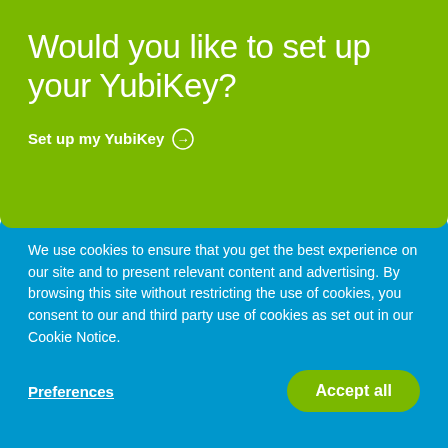Would you like to set up your YubiKey?
Set up my YubiKey →
We use cookies to ensure that you get the best experience on our site and to present relevant content and advertising. By browsing this site without restricting the use of cookies, you consent to our and third party use of cookies as set out in our Cookie Notice.
Preferences
Accept all